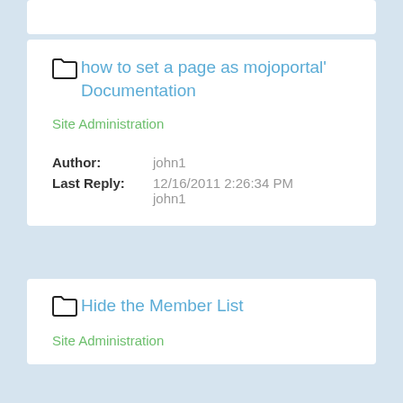how to set a page as mojoportal' Documentation
Site Administration
Author: john1
Last Reply: 12/16/2011 2:26:34 PM
john1
Hide the Member List
Site Administration